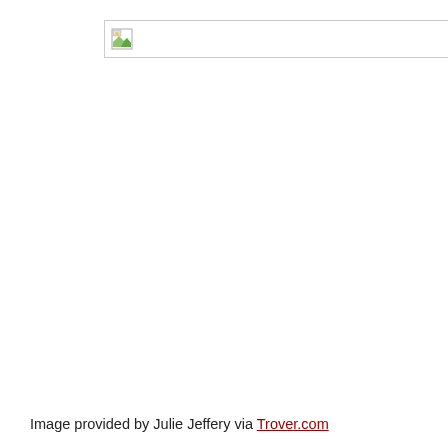[Figure (photo): Broken/missing image placeholder shown as a small image icon inside a bordered box]
Image provided by Julie Jeffery via Trover.com